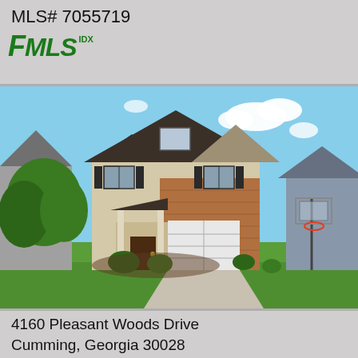MLS# 7055719
[Figure (logo): FMLS IDX logo in green italic bold text]
[Figure (photo): Exterior photo of a two-story residential home with brick and siding facade, black shutters, two-car garage, basketball hoop in driveway, green lawn, blue sky with clouds]
4160 Pleasant Woods Drive
Cumming, Georgia 30028